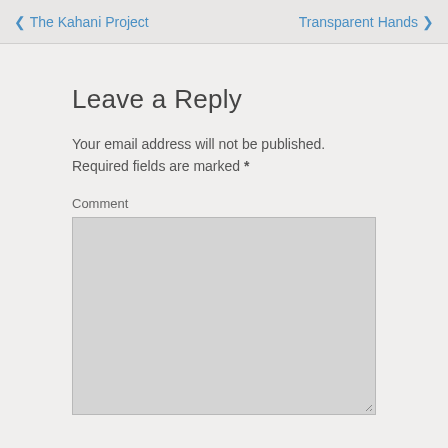❮ The Kahani Project    Transparent Hands ❯
Leave a Reply
Your email address will not be published. Required fields are marked *
Comment